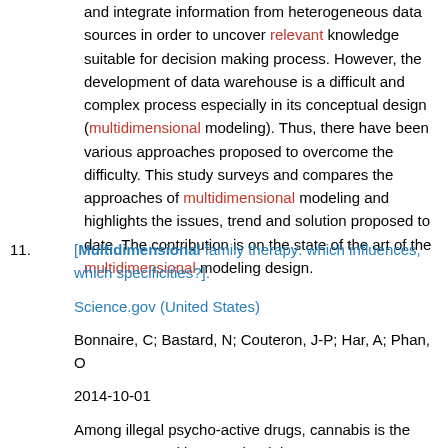and integrate information from heterogeneous data sources in order to uncover relevant knowledge suitable for decision making process. However, the development of data warehouse is a difficult and complex process especially in its conceptual design (multidimensional modeling). Thus, there have been various approaches proposed to overcome the difficulty. This study surveys and compares the approaches of multidimensional modeling and highlights the issues, trend and solution proposed to date. The contribution is on the state of the art of the multidimensional modeling design.
11. [Multidimensional family therapy: which influences, which specificities?].

Science.gov (United States)

Bonnaire, C; Bastard, N; Couteron, J-P; Har, A; Phan, O

2014-10-01

Among illegal psycho-active drugs, cannabis is the most consumed by French adolescents. Multidimensional family therapy (MDFT) is a family-based outpatient therapy which has been developed for adolescents with drug and behavioral